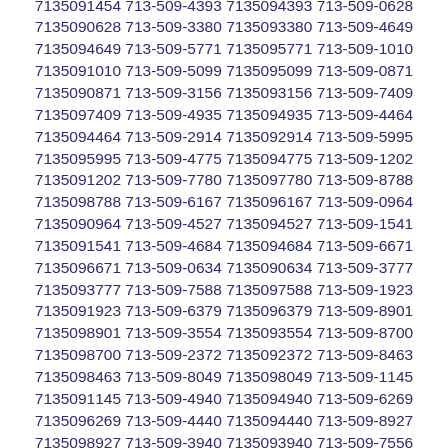7135098221 713-509-4961 7135094961 713-509-4525 7135094525 713-509-9335 7135099335 713-509-1454 7135091454 713-509-4393 7135094393 713-509-0628 7135090628 713-509-3380 7135093380 713-509-4649 7135094649 713-509-5771 7135095771 713-509-1010 7135091010 713-509-5099 7135095099 713-509-0871 7135090871 713-509-3156 7135093156 713-509-7409 7135097409 713-509-4935 7135094935 713-509-4464 7135094464 713-509-2914 7135092914 713-509-5995 7135095995 713-509-4775 7135094775 713-509-1202 7135091202 713-509-7780 7135097780 713-509-8788 7135098788 713-509-6167 7135096167 713-509-0964 7135090964 713-509-4527 7135094527 713-509-1541 7135091541 713-509-4684 7135094684 713-509-6671 7135096671 713-509-0634 7135090634 713-509-3777 7135093777 713-509-7588 7135097588 713-509-1923 7135091923 713-509-6379 7135096379 713-509-8901 7135098901 713-509-3554 7135093554 713-509-8700 7135098700 713-509-2372 7135092372 713-509-8463 7135098463 713-509-8049 7135098049 713-509-1145 7135091145 713-509-4940 7135094940 713-509-6269 7135096269 713-509-4440 7135094440 713-509-8927 7135098927 713-509-3940 7135093940 713-509-7556 7135097556 713-509-5293 7135095293 713-509-8153 7135098153 713-509-5254 7135095254 713-509-1107